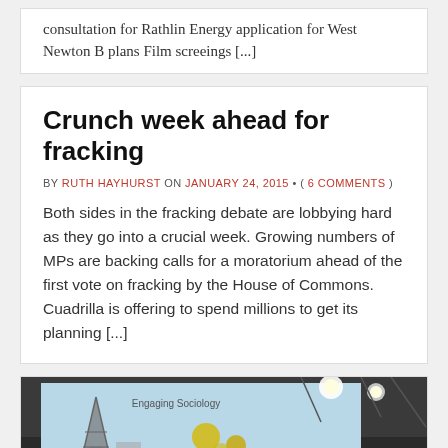consultation for Rathlin Energy application for West Newton B plans Film screeings [...]
Crunch week ahead for fracking
BY RUTH HAYHURST ON JANUARY 24, 2015 • ( 6 COMMENTS )
Both sides in the fracking debate are lobbying hard as they go into a crucial week. Growing numbers of MPs are backing calls for a moratorium ahead of the first vote on fracking by the House of Commons. Cuadrilla is offering to spend millions to get its planning [...]
[Figure (photo): A projected screen showing 'Engaging Sociology' and 'Public Debate on Fracking/Health' presentation in a conference room with overhead lights visible.]